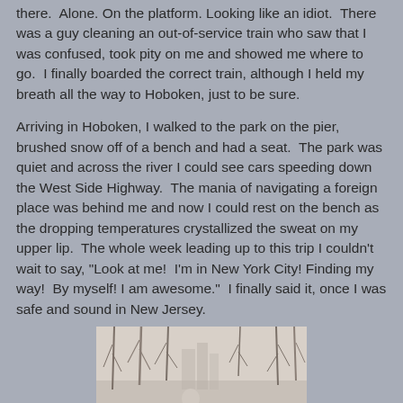there.  Alone. On the platform. Looking like an idiot.  There was a guy cleaning an out-of-service train who saw that I was confused, took pity on me and showed me where to go.  I finally boarded the correct train, although I held my breath all the way to Hoboken, just to be sure.
Arriving in Hoboken, I walked to the park on the pier, brushed snow off of a bench and had a seat.  The park was quiet and across the river I could see cars speeding down the West Side Highway.  The mania of navigating a foreign place was behind me and now I could rest on the bench as the dropping temperatures crystallized the sweat on my upper lip.  The whole week leading up to this trip I couldn't wait to say, "Look at me!  I'm in New York City! Finding my way!  By myself! I am awesome."  I finally said it, once I was safe and sound in New Jersey.
[Figure (photo): A couple standing outdoors in a winter scene with bare trees, smiling at the camera.]